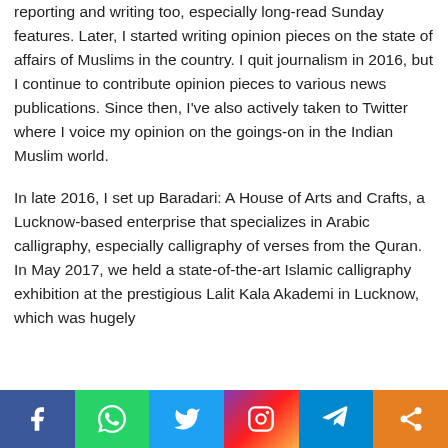reporting and writing too, especially long-read Sunday features. Later, I started writing opinion pieces on the state of affairs of Muslims in the country. I quit journalism in 2016, but I continue to contribute opinion pieces to various news publications. Since then, I've also actively taken to Twitter where I voice my opinion on the goings-on in the Indian Muslim world.
In late 2016, I set up Baradari: A House of Arts and Crafts, a Lucknow-based enterprise that specializes in Arabic calligraphy, especially calligraphy of verses from the Quran. In May 2017, we held a state-of-the-art Islamic calligraphy exhibition at the prestigious Lalit Kala Akademi in Lucknow, which was hugely